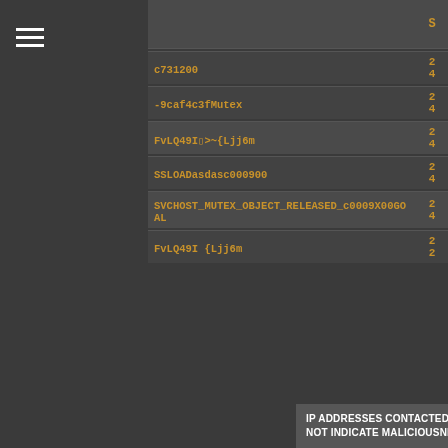[Figure (screenshot): Dark-themed UI panel showing a list of mutex/malware indicator strings with scores. Each row contains a code string in orange monospace font and a numeric score on the right.]
S
c731200
2
4
-9caf4c3fMutex
2
4
FvLQ49I▯>~{Ljj6m
2
4
SSLOADasdasc000900
2
4
SVCHOST_MUTEX_OBJECT_RELEASED_c0009X00GOAL
2
4
FvLQ49I {Ljj6m
2
2
IP ADDRESSES CONTACTED BY MALWARE. DOES NOT INDICATE MALICIOUSNESS
O
C